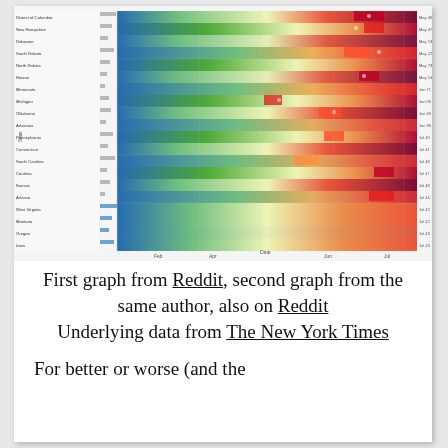[Figure (other): A heatmap chart showing COVID-19 daily cases by US state over time (Feb through Jul), with a color scale from blue (low) to red (high) proportion of peak daily cases. States are listed on the y-axis, dates on the x-axis, and bar charts appear alongside the state names. A legend shows 'Proportion of Peak Daily Cases' with a color gradient. Attribution reads 'betterknownaplan.com'.]
First graph from Reddit, second graph from the same author, also on Reddit Underlying data from The New York Times
For better or worse (and the